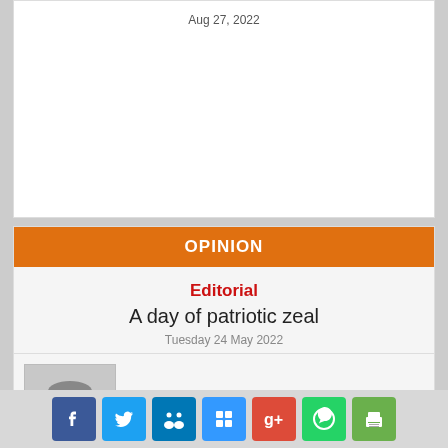Aug 27, 2022
OPINION
Editorial
A day of patriotic zeal
Tuesday 24 May 2022
[Figure (photo): Greyscale headshot photo of a man]
Holistic, expert reform
Aug 27, 2022
[Figure (illustration): Generic person silhouette/placeholder avatar]
Inflation's emotional scars
Aug 27, 2022
Social share icons: Facebook, Twitter, LinkedIn, Delicious, Google+, WhatsApp, Print